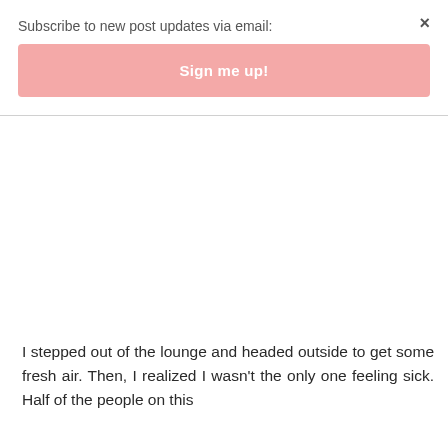Subscribe to new post updates via email:
Sign me up!
×
I stepped out of the lounge and headed outside to get some fresh air. Then, I realized I wasn't the only one feeling sick. Half of the people on this